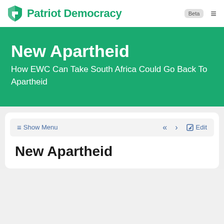Patriot Democracy Beta
New Apartheid
How EWC Can Take South Africa Could Go Back To Apartheid
≡ Show Menu   «   ›   Edit
New Apartheid